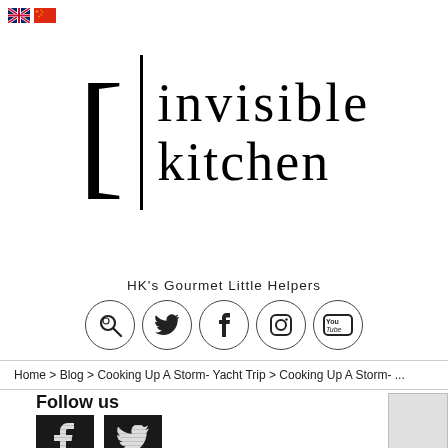[Figure (logo): Invisible Kitchen logo with bracket, vertical pipe, and text 'invisible kitchen']
HK's Gourmet Little Helpers
[Figure (infographic): Row of social media icons: search/magnifier, Twitter bird, Facebook f, Instagram camera, YouTube]
Home > Blog > Cooking Up A Storm- Yacht Trip > Cooking Up A Storm- ...
Follow us
[Figure (infographic): Facebook and Twitter icon buttons (dark/sketch style)]